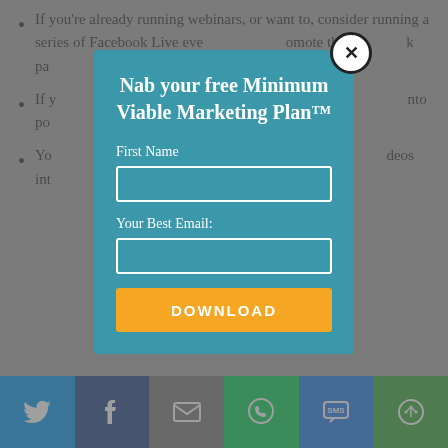If you're already running webinars, or want to, consider running a series of Facebook Live events … promote them on a Facebook page … turn on into …
If y… ce by re… into po…
Yo… osts wi… deos int… ng the… Fac…
[Figure (screenshot): Modal popup overlay with teal background. Title: 'Nab your free Minimum Viable Marketing Plan™'. Contains First Name field, Your Best Email field, and orange DOWNLOAD button. Close (X) button in top-right corner.]
[Figure (infographic): Social sharing bar at the bottom with six buttons: Twitter (light blue), Facebook (dark blue), Email (grey), WhatsApp (green), SMS (blue), and a share/other button (green).]